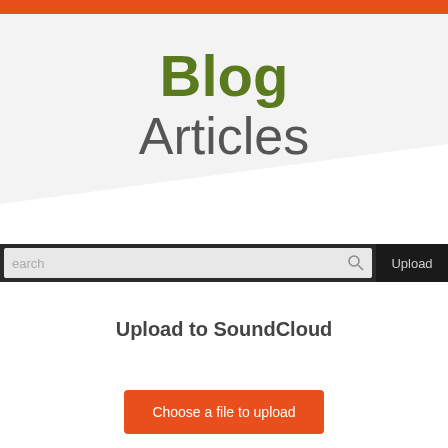Blog
Articles
[Figure (screenshot): Search bar with placeholder text 'search' and a magnifying glass icon, and an 'Upload' button on the right, on a dark background]
Upload to SoundCloud
[Figure (screenshot): Orange button labeled 'Choose a file to upload']